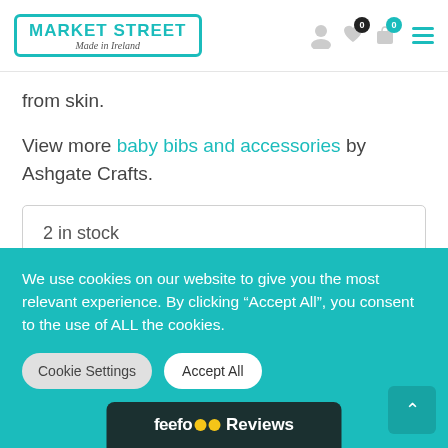Market Street - Made in Ireland
from skin.
View more baby bibs and accessories by Ashgate Crafts.
2 in stock
Buy now — OR —
We use cookies on our website to give you the most relevant experience. By clicking “Accept All”, you consent to the use of ALL the cookies.
Cookie Settings
Accept All
[Figure (logo): Feefo Reviews logo bar at bottom of page]